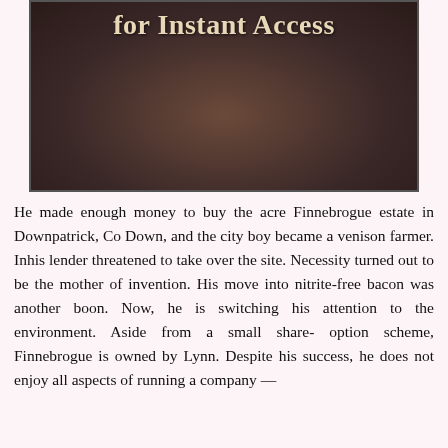[Figure (photo): A photo with text overlay reading 'for Instant Access' over a dark background image]
He made enough money to buy the acre Finnebrogue estate in Downpatrick, Co Down, and the city boy became a venison farmer. Inhis lender threatened to take over the site. Necessity turned out to be the mother of invention. His move into nitrite-free bacon was another boon. Now, he is switching his attention to the environment. Aside from a small share- option scheme, Finnebrogue is owned by Lynn. Despite his success, he does not enjoy all aspects of running a company —